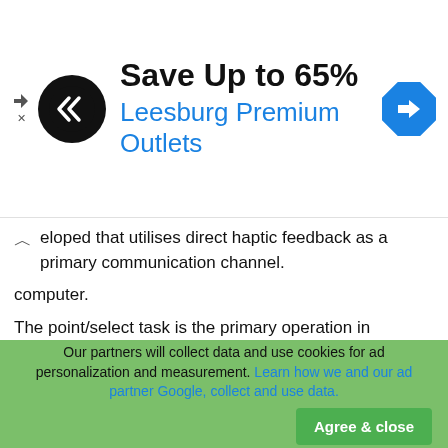[Figure (screenshot): Advertisement banner for Leesburg Premium Outlets with a black circular logo with arrows, Save Up to 65% headline, blue subtitle, and a blue diamond navigation icon]
…eloped that utilises direct haptic feedback as a primary communication channel.
computer.
The point/select task is the primary operation in graphical user interfaces. The cursor channel is used intensely in the interaction with the system. An average user executes about four thousand point/select tasks a day (based on our own informal research). The cursor is the representation of the user within the interface. In a way it is your default avatar in cyberspace. The cursor behaviour has not altered much since its invention [12]. An early improvement is the use of a dynamic cursor icon to inform about the status of the system or the effects of the next mouse action. Changing the cursor icon to
Our partners will collect data and use cookies for ad personalization and measurement. Learn how we and our ad partner Google, collect and use data.
Agree & close